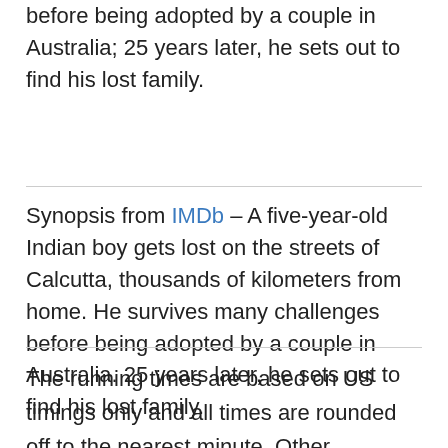before being adopted by a couple in Australia; 25 years later, he sets out to find his lost family.
Synopsis from IMDb – A five-year-old Indian boy gets lost on the streets of Calcutta, thousands of kilometers from home. He survives many challenges before being adopted by a couple in Australia. 25 years later, he sets out to find his lost family.
The running times are based on US timings only and all times are rounded off to the nearest minute. Other countries may have different running lengths. Theatrical